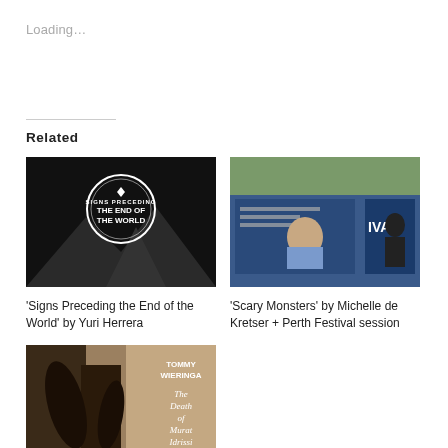Loading…
Related
[Figure (photo): Book cover of 'Signs Preceding the End of the World' by Yuri Herrera — dark background with a circular emblem and mountain silhouette]
'Signs Preceding the End of the World' by Yuri Herrera
[Figure (photo): Festival session photo showing a person at a panel discussion with screens and 'IVAL' text visible in the background]
'Scary Monsters' by Michelle de Kretser + Perth Festival session
[Figure (photo): Book cover of 'The Death of Murat Idrissi' by Tommy Wieringa — sepia toned image with title text overlay]
'The Death of Murat Idrissi'